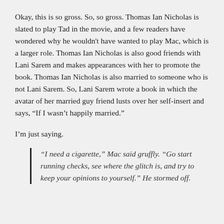Okay, this is so gross. So, so gross. Thomas Ian Nicholas is slated to play Tad in the movie, and a few readers have wondered why he wouldn't have wanted to play Mac, which is a larger role. Thomas Ian Nicholas is also good friends with Lani Sarem and makes appearances with her to promote the book. Thomas Ian Nicholas is also married to someone who is not Lani Sarem. So, Lani Sarem wrote a book in which the avatar of her married guy friend lusts over her self-insert and says, “If I wasn’t happily married.”
I’m just saying.
“I need a cigarette,” Mac said gruffly. “Go start running checks, see where the glitch is, and try to keep your opinions to yourself.” He stormed off.